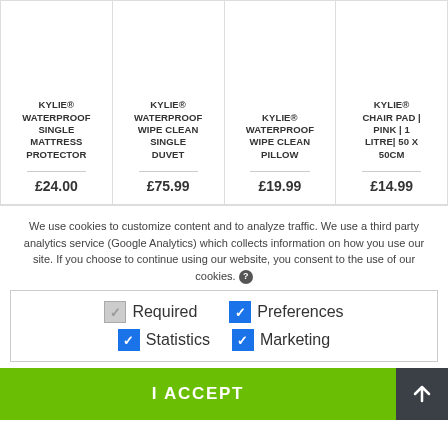[Figure (screenshot): Four product cards showing KYLIE waterproof products with names and prices]
We use cookies to customize content and to analyze traffic. We use a third party analytics service (Google Analytics) which collects information on how you use our site. If you choose to continue using our website, you consent to the use of our cookies. ?
Required
Preferences
Statistics
Marketing
I ACCEPT